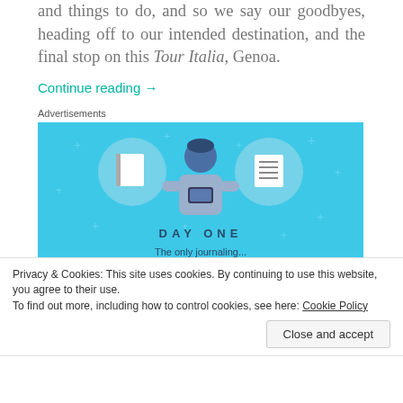and things to do, and so we say our goodbyes, heading off to our intended destination, and the final stop on this Tour Italia, Genoa.
Continue reading →
Advertisements
[Figure (illustration): Day One journaling app advertisement with blue background showing a person holding a phone, flanked by two circular icons (notebook and lined document), with text DAY ONE and The only journaling...]
Privacy & Cookies: This site uses cookies. By continuing to use this website, you agree to their use.
To find out more, including how to control cookies, see here: Cookie Policy
Close and accept